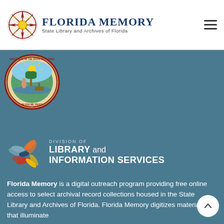[Figure (logo): Florida Memory logo with compass rose emblem and text 'FLORIDA MEMORY - State Library and Archives of Florida']
[Figure (logo): Great Seal of the State of Florida circular seal]
[Figure (logo): Division of Library and Information Services logo with colorful book/pinwheel icon]
Florida Memory is a digital outreach program providing free online access to select archival record collections housed in the State Library and Archives of Florida. Florida Memory digitizes materials that illuminate